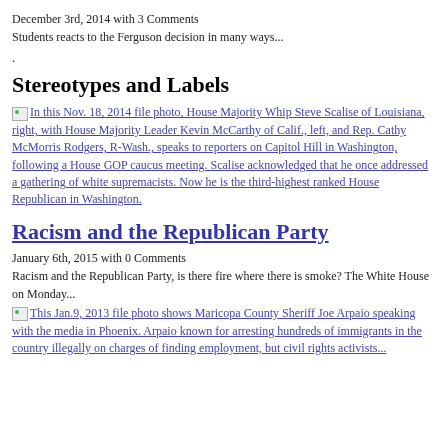December 3rd, 2014 with 3 Comments
Students reacts to the Ferguson decision in many ways...
.
Stereotypes and Labels
In this Nov. 18, 2014 file photo, House Majority Whip Steve Scalise of Louisiana, right, with House Majority Leader Kevin McCarthy of Calif., left, and Rep. Cathy McMorris Rodgers, R-Wash., speaks to reporters on Capitol Hill in Washington, following a House GOP caucus meeting. Scalise acknowledged that he once addressed a gathering of white supremacists. Now he is the third-highest ranked House Republican in Washington.
Racism and the Republican Party
January 6th, 2015 with 0 Comments
Racism and the Republican Party, is there fire where there is smoke? The White House on Monday...
This Jan.9, 2013 file photo shows Maricopa County Sheriff Joe Arpaio speaking with the media in Phoenix. Arpaio known for arresting hundreds of immigrants in the country illegally on charges of finding employment, but civil rights activists...